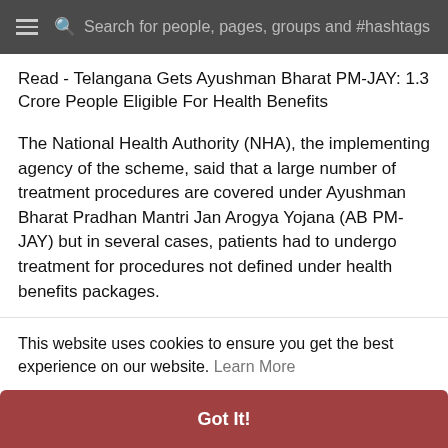Search for people, pages, groups and #hashtags
Read - Telangana Gets Ayushman Bharat PM-JAY: 1.3 Crore People Eligible For Health Benefits
The National Health Authority (NHA), the implementing agency of the scheme, said that a large number of treatment procedures are covered under Ayushman Bharat Pradhan Mantri Jan Arogya Yojana (AB PM-JAY) but in several cases, patients had to undergo treatment for procedures not defined under health benefits packages.
In such cases, patients are registered by using the category of unspecified surgical procedures (USPs), reported News18.com quoting an NHA official.
This website uses cookies to ensure you get the best experience on our website. Learn More
Got It!